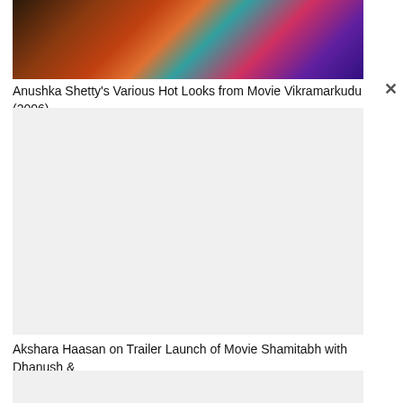[Figure (photo): Partial view of a colorful image showing vibrant teal, red, orange and purple colors — appears to be a movie-related photo from Vikramarkudu (2006)]
Anushka Shetty's Various Hot Looks from Movie Vikramarkudu (2006)
[Figure (photo): Light gray placeholder image box for Akshara Haasan on Trailer Launch of Movie Shamitabh with Dhanush & Amitabh Bacchan]
Akshara Haasan on Trailer Launch of Movie Shamitabh with Dhanush & Amitabh Bacchan
[Figure (photo): Light gray placeholder image box (partially visible at bottom of page)]